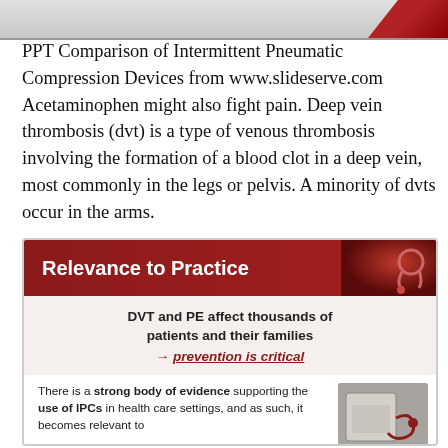[Figure (photo): Top image bar with grey gradient background and dark red corner accent]
PPT Comparison of Intermittent Pneumatic Compression Devices from www.slideserve.com Acetaminophen might also fight pain. Deep vein thrombosis (dvt) is a type of venous thrombosis involving the formation of a blood clot in a deep vein, most commonly in the legs or pelvis. A minority of dvts occur in the arms.
[Figure (infographic): Relevance to Practice infographic panel with dark red header, stethoscope image, DVT/PE statement, prevention arrow, and IPC evidence text with device photo]